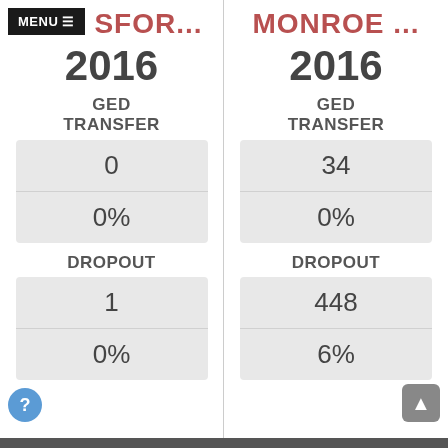SFOR...
MONROE ...
2016
2016
GED TRANSFER
GED TRANSFER
| Count | Percent |
| --- | --- |
| 0 |
| 0% |
| Count | Percent |
| --- | --- |
| 34 |
| 0% |
DROPOUT
DROPOUT
| Count | Percent |
| --- | --- |
| 1 |
| 0% |
| Count | Percent |
| --- | --- |
| 448 |
| 6% |